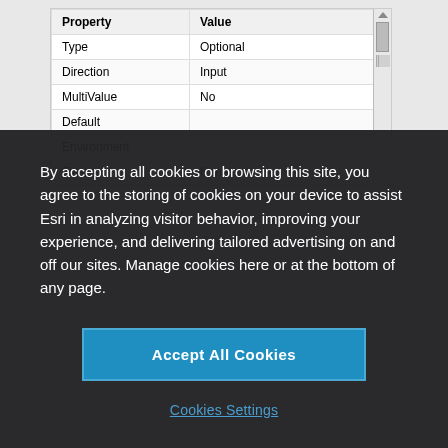| Property | Value |
| --- | --- |
| Type | Optional |
| Direction | Input |
| MultiValue | No |
| Default |  |
| Environment |  |
| Filter | None |
By accepting all cookies or browsing this site, you agree to the storing of cookies on your device to assist Esri in analyzing visitor behavior, improving your experience, and delivering tailored advertising on and off our sites. Manage cookies here or at the bottom of any page.
Accept All Cookies
Cookies Settings